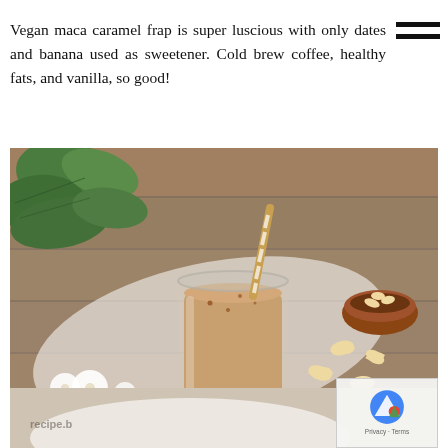Vegan maca caramel frap is super luscious with only dates and banana used as sweetener. Cold brew coffee, healthy fats, and vanilla, so good!
[Figure (photo): A glass jar filled with a creamy caramel-colored smoothie/frappuccino with a striped paper straw, surrounded by white flowers, green leaves, scattered cashew nuts, a small brown bowl with cashews, all on a wooden surface with a white cloth/scarf.]